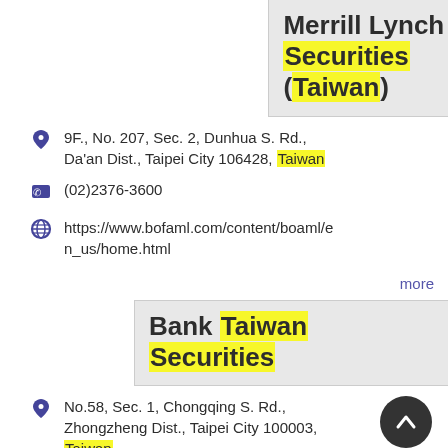Merrill Lynch Securities (Taiwan)
9F., No. 207, Sec. 2, Dunhua S. Rd., Da'an Dist., Taipei City 106428, Taiwan
(02)2376-3600
https://www.bofaml.com/content/boaml/en_us/home.html
more
Bank Taiwan Securities
No.58, Sec. 1, Chongqing S. Rd., Zhongzheng Dist., Taipei City 100003, Taiwan
(02)2388-2188
https://www.twfhcsec.com.tw
more